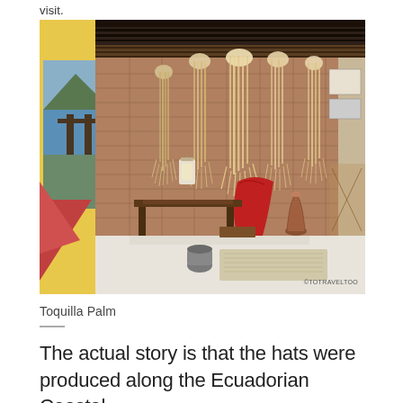visit.
[Figure (photo): Interior of a room displaying Toquilla Palm fibers hanging from wooden ceiling beams, with a brick wall backdrop, a painted landscape mural on the left, red cloth, dark wooden furniture, a vase, and various craft items. Watermark reads ©TOTRAVELTOO.]
Toquilla Palm
The actual story is that the hats were produced along the Ecuadorian Coastal